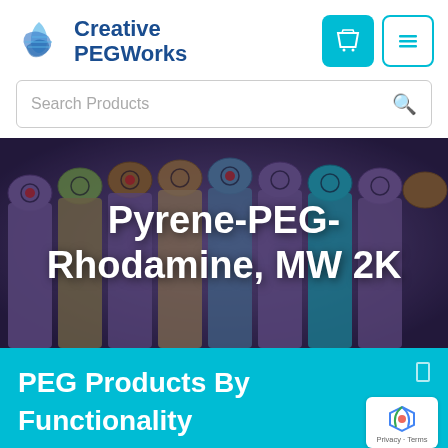[Figure (logo): Creative PEGWorks logo with blue leaf/feather icon and company name]
Search Products
[Figure (photo): Background photo of colorful laboratory tube tops (purple, teal, gold, blue) viewed from above]
Pyrene-PEG-Rhodamine, MW 2K
PEG Products By Functionality